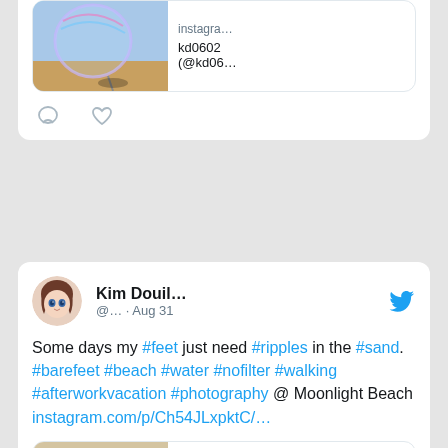[Figure (screenshot): Partial tweet card at top showing a link preview with bubble image, source 'instagra...' and title 'kd0602 (@kd06...' with comment and like icons below]
[Figure (screenshot): Tweet card by Kim Douil... (@... · Aug 31) with Twitter bird icon, text about #feet #ripples #sand #barefeet #beach #water #nofilter #walking #afterworkvacation #photography @ Moonlight Beach with instagram link, and a link preview image of sand ripples]